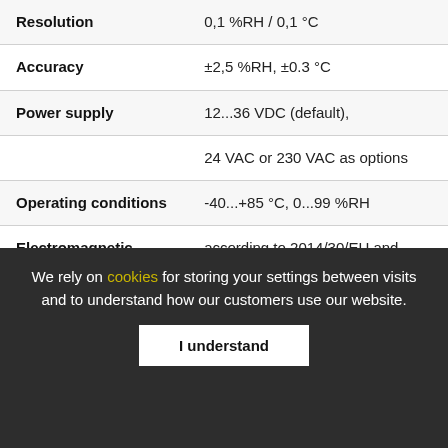| Property | Value |
| --- | --- |
| Resolution | 0,1 %RH / 0,1 °C |
| Accuracy | ±2,5 %RH, ±0.3 °C |
| Power supply | 12...36 VDC (default), 24 VAC or 230 VAC as options |
| Operating conditions | -40...+85 °C, 0...99 %RH |
| Electromagnetic compatibility (CE marking) | according to 2014/30/EU and EN61326-1 requirements |
We rely on cookies for storing your settings between visits and to understand how our customers use our website.
I understand
Documents
Technical Datasheet